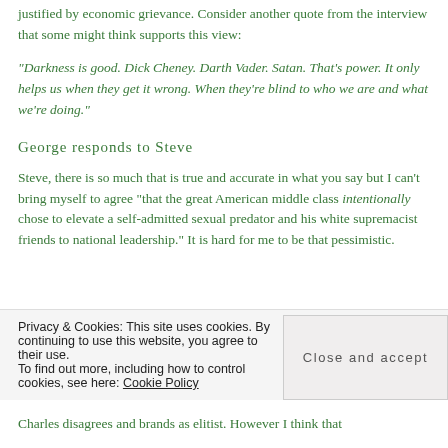justified by economic grievance. Consider another quote from the interview that some might think supports this view:
“Darkness is good. Dick Cheney. Darth Vader. Satan. That’s power. It only helps us when they get it wrong. When they’re blind to who we are and what we’re doing.”
George responds to Steve
Steve, there is so much that is true and accurate in what you say but I can’t bring myself to agree “that the great American middle class intentionally chose to elevate a self-admitted sexual predator and his white supremacist friends to national leadership.” It is hard for me to be that pessimistic.
Charles disagrees and brands as elitist. However I think that